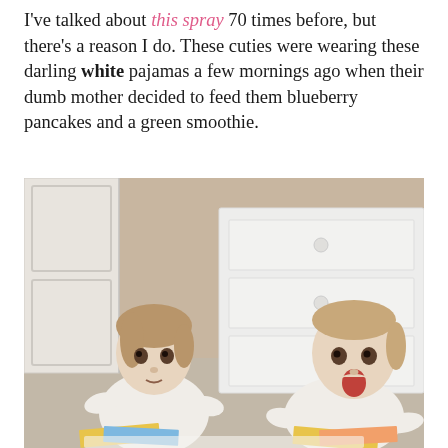I've talked about this spray 70 times before, but there's a reason I do. These cuties were wearing these darling white pajamas a few mornings ago when their dumb mother decided to feed them blueberry pancakes and a green smoothie.
[Figure (photo): Two toddlers in white pajamas sitting on the floor in front of a white dresser. The child on the left looks at the camera with a neutral expression; the child on the right has their mouth wide open in surprise. Books are visible in front of them.]